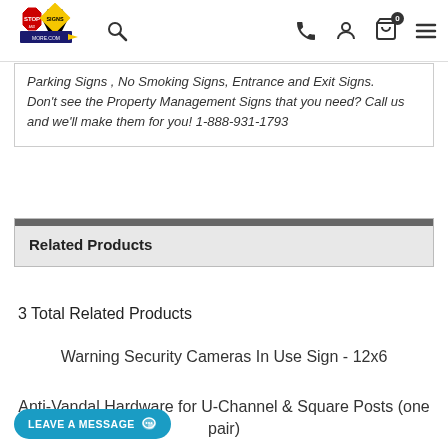Stop Signs and More - Navigation bar with logo, search, phone, account, cart, menu
Parking Signs, No Smoking Signs, Entrance and Exit Signs. Don't see the Property Management Signs that you need? Call us and we'll make them for you! 1-888-931-1793
Related Products
3 Total Related Products
Warning Security Cameras In Use Sign - 12x6
Anti-Vandal Hardware for U-Channel & Square Posts (one pair)